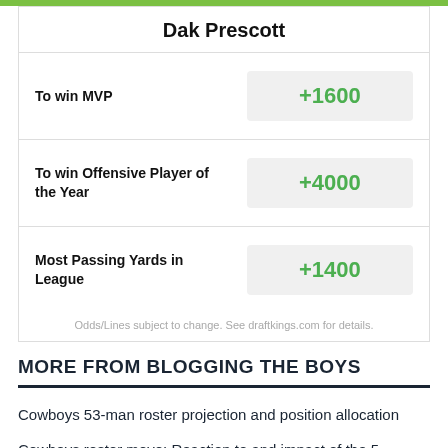Dak Prescott
| Market | Odds |
| --- | --- |
| To win MVP | +1600 |
| To win Offensive Player of the Year | +4000 |
| Most Passing Yards in League | +1400 |
Odds/Lines subject to change. See draftkings.com for details.
MORE FROM BLOGGING THE BOYS
Cowboys 53-man roster projection and position allocation
Cowboys roster move: Reaction to and impact of the 5 players trimmed in the cutdowns to 80
Cowboys roster moves: Team moves on from veteran tight